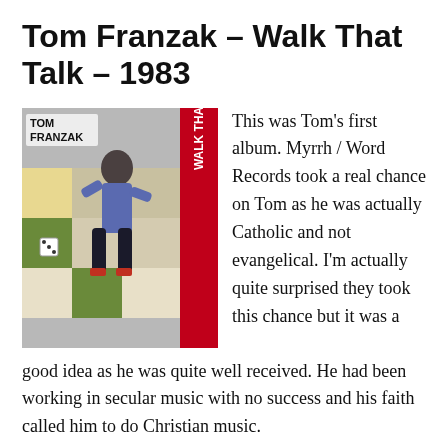Tom Franzak – Walk That Talk – 1983
[Figure (photo): Album cover for Tom Franzak 'Walk That Talk' 1983. Features a man in a blue sweater leaping over a game board, with a red stripe on the right side showing the album title vertically in white text. 'TOM FRANZAK' appears in the upper left.]
This was Tom's first album. Myrrh / Word Records took a real chance on Tom as he was actually Catholic and not evangelical. I'm actually quite surprised they took this chance but it was a good idea as he was quite well received. He had been working in secular music with no success and his faith called him to do Christian music.